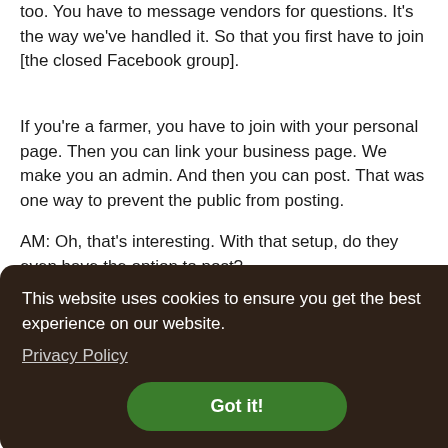too. You have to message vendors for questions. It's the way we've handled it. So that you first have to join [the closed Facebook group].
If you're a farmer, you have to join with your personal page. Then you can link your business page. We make you an admin. And then you can post. That was one way to prevent the public from posting.
AM: Oh, that's interesting. With that setup, do they even have the option to post?
[Figure (screenshot): Cookie consent overlay with dark brown background, text 'This website uses cookies to ensure you get the best experience on our website.', a 'Privacy Policy' underlined link, and a green 'Got it!' button.]
Okay. that's s and like
that t...